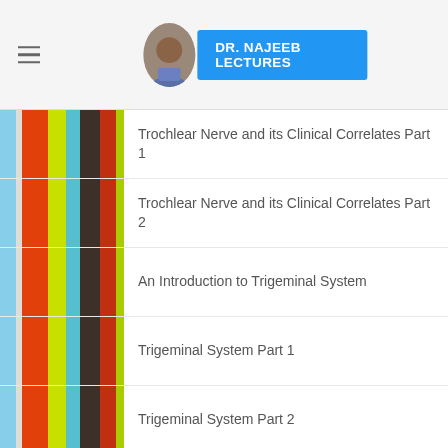DR. NAJEEB LECTURES
Trochlear Nerve and its Clinical Correlates Part 1
Trochlear Nerve and its Clinical Correlates Part 2
An Introduction to Trigeminal System
Trigeminal System Part 1
Trigeminal System Part 2